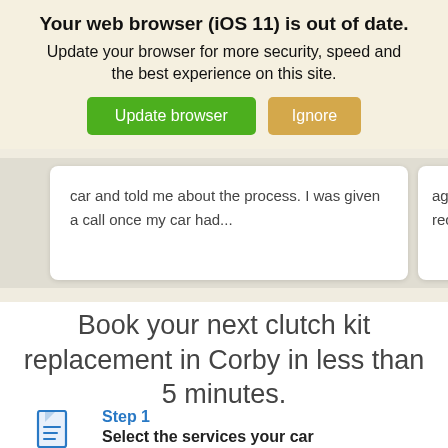Your web browser (iOS 11) is out of date.
Update your browser for more security, speed and the best experience on this site.
Update browser | Ignore
car and told me about the process. I was given a call once my car had...
again w recomr
Book your next clutch kit replacement in Corby in less than 5 minutes.
Step 1
Select the services your car